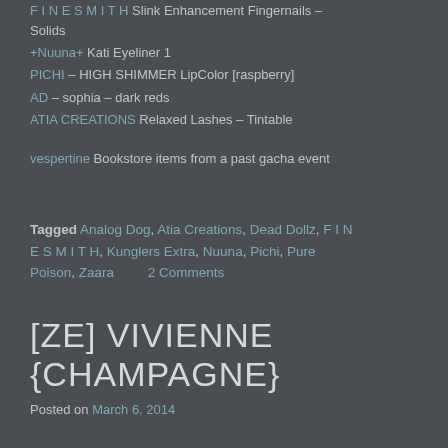F I N E S M I T H Slink Enhancement Fingernails – Solids
+Nuuna+ Kati Eyeliner 1
PICHI – HIGH SHIMMER LipColor [raspberry]
AD – sophia – dark reds
ATIA CREATIONS Relaxed Lashes – Tintable
vespertine Bookstore items from a past gacha event
Tagged Analog Dog, Atia Creations, Dead Dollz, F I N E S M I T H, Kunglers Extra, Nuuna, Pichi, Pure Poison, Zaara   2 Comments
[ZE] VIVIENNE {CHAMPAGNE}
Posted on March 6, 2014